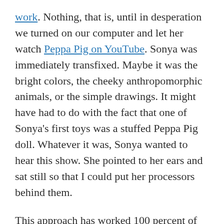work. Nothing, that is, until in desperation we turned on our computer and let her watch Peppa Pig on YouTube. Sonya was immediately transfixed. Maybe it was the bright colors, the cheeky anthropomorphic animals, or the simple drawings. It might have had to do with the fact that one of Sonya's first toys was a stuffed Peppa Pig doll. Whatever it was, Sonya wanted to hear this show. She pointed to her ears and sat still so that I could put her processors behind them.
This approach has worked 100 percent of the time. Even better is the fact that she is taking her processors off less often.
Our speech therapists have rallied behind this